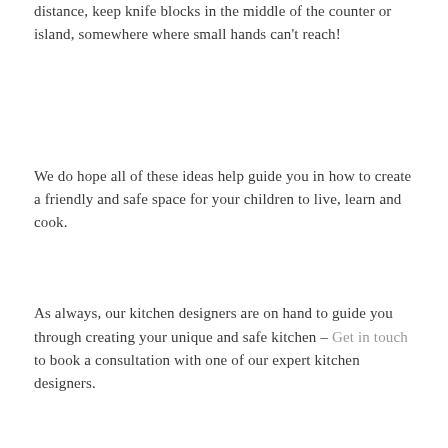distance, keep knife blocks in the middle of the counter or island, somewhere where small hands can't reach!
We do hope all of these ideas help guide you in how to create a friendly and safe space for your children to live, learn and cook.
As always, our kitchen designers are on hand to guide you through creating your unique and safe kitchen – Get in touch to book a consultation with one of our expert kitchen designers.